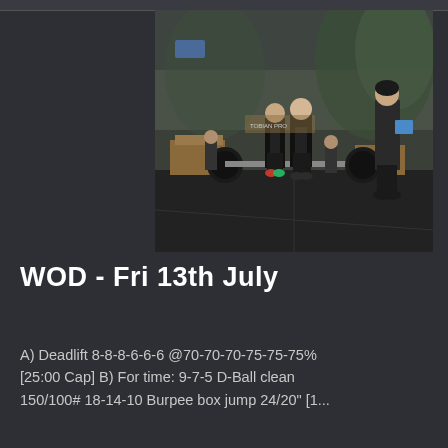[Figure (photo): Athletes in a CrossFit gym performing deadlifts during a competition, with a judge observing. Industrial gym setting with wooden platforms, barbells, and painted murals in the background.]
WOD - Fri 13th July
A) Deadlift 8-8-8-6-6-6 @70-70-70-75-75-75% [25:00 Cap] B) For time: 9-7-5 D-Ball clean 150/100# 18-14-10 Burpee box jump 24/20" [1...